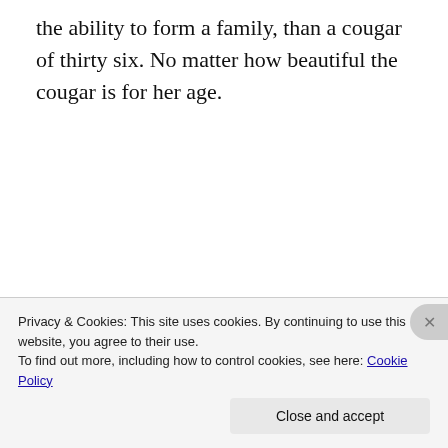the ability to form a family, than a cougar of thirty six. No matter how beautiful the cougar is for her age.
[Figure (screenshot): Jetpack advertisement banner. Green background with decorative circles and dot pattern. Jetpack logo (white circle with lightning bolt icon) and text 'Jetpack' at top left. Headline reads 'The best real-time WordPress backup plugin' in bold white text.]
Privacy & Cookies: This site uses cookies. By continuing to use this website, you agree to their use.
To find out more, including how to control cookies, see here: Cookie Policy
Close and accept